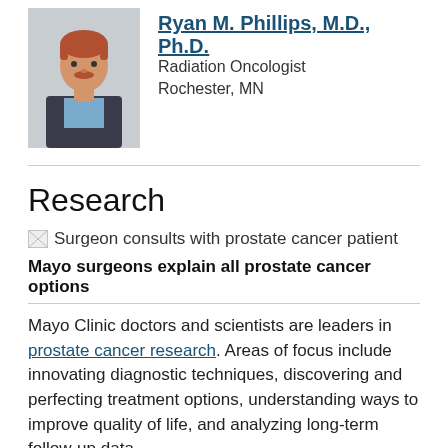[Figure (photo): Headshot of Ryan M. Phillips, M.D., Ph.D., a man with red hair and mustache wearing a dark suit jacket and light blue shirt]
Ryan M. Phillips, M.D., Ph.D.
Radiation Oncologist
Rochester, MN
Research
[Figure (photo): Broken image placeholder: Surgeon consults with prostate cancer patient]
Mayo surgeons explain all prostate cancer options
Mayo Clinic doctors and scientists are leaders in prostate cancer research. Areas of focus include innovating diagnostic techniques, discovering and perfecting treatment options, understanding ways to improve quality of life, and analyzing long-term follow-up data.
For decades, Mayo Clinic has been compiling a database of men who have had surgery for prostate cancer.